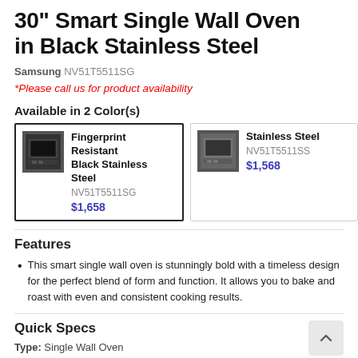30" Smart Single Wall Oven in Black Stainless Steel
Samsung NV51T5511SG
*Please call us for product availability
Available in 2 Color(s)
[Figure (other): Two product color option cards side by side. Left card (selected/highlighted): oven image, 'Fingerprint Resistant Black Stainless Steel', NV51T5511SG, $1,658. Right card: oven image, 'Stainless Steel', NV51T5511SS, $1,568.]
Features
This smart single wall oven is stunningly bold with a timeless design for the perfect blend of form and function. It allows you to bake and roast with even and consistent cooking results.
Quick Specs
Type: Single Wall Oven